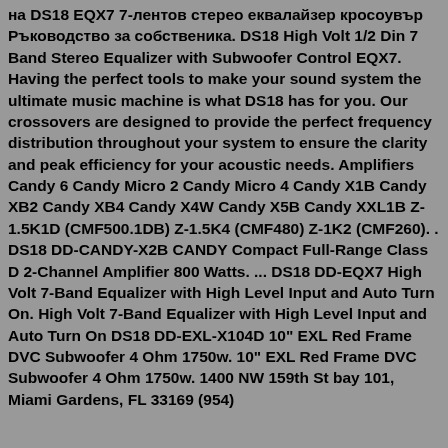на DS18 EQX7 7-лентов стерео еквалайзер кросоувър Ръководство за собственика. DS18 High Volt 1/2 Din 7 Band Stereo Equalizer with Subwoofer Control EQX7. Having the perfect tools to make your sound system the ultimate music machine is what DS18 has for you. Our crossovers are designed to provide the perfect frequency distribution throughout your system to ensure the clarity and peak efficiency for your acoustic needs. Amplifiers Candy 6 Candy Micro 2 Candy Micro 4 Candy X1B Candy XB2 Candy XB4 Candy X4W Candy X5B Candy XXL1B Z-1.5K1D (CMF500.1DB) Z-1.5K4 (CMF480) Z-1K2 (CMF260). . DS18 DD-CANDY-X2B CANDY Compact Full-Range Class D 2-Channel Amplifier 800 Watts. ... DS18 DD-EQX7 High Volt 7-Band Equalizer with High Level Input and Auto Turn On. High Volt 7-Band Equalizer with High Level Input and Auto Turn On DS18 DD-EXL-X104D 10" EXL Red Frame DVC Subwoofer 4 Ohm 1750w. 10" EXL Red Frame DVC Subwoofer 4 Ohm 1750w. 1400 NW 159th St bay 101, Miami Gardens, FL 33169 (954)